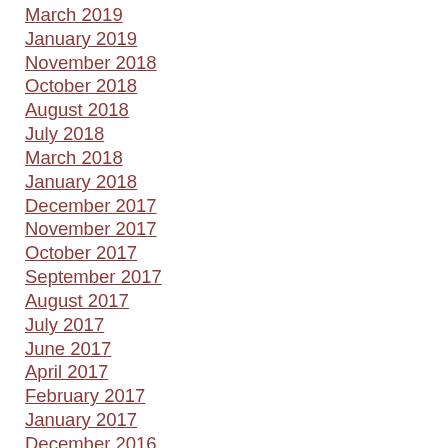March 2019
January 2019
November 2018
October 2018
August 2018
July 2018
March 2018
January 2018
December 2017
November 2017
October 2017
September 2017
August 2017
July 2017
June 2017
April 2017
February 2017
January 2017
December 2016